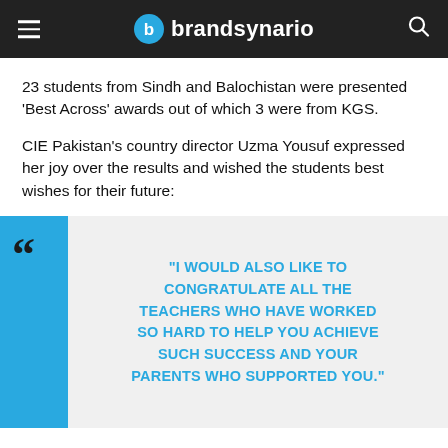brandsynario
23 students from Sindh and Balochistan were presented ‘Best Across’ awards out of which 3 were from KGS.
CIE Pakistan’s country director Uzma Yousuf expressed her joy over the results and wished the students best wishes for their future:
“I WOULD ALSO LIKE TO CONGRATULATE ALL THE TEACHERS WHO HAVE WORKED SO HARD TO HELP YOU ACHIEVE SUCH SUCCESS AND YOUR PARENTS WHO SUPPORTED YOU.”